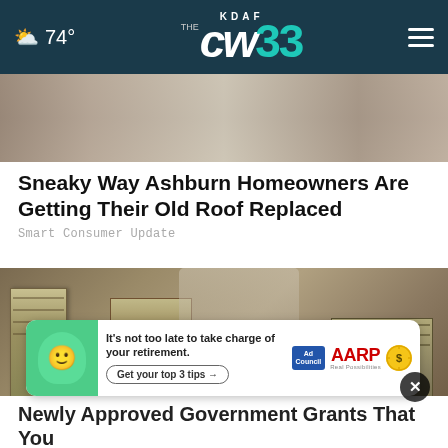74° KDAF CW 33
[Figure (photo): Partial photo visible at top of article, cropped view of a figure]
Sneaky Way Ashburn Homeowners Are Getting Their Old Roof Replaced
Smart Consumer Update
[Figure (photo): Photo of stacks of bundled US dollar bills on a table with a person in background]
[Figure (photo): AARP advertisement banner: It's not too late to take charge of your retirement. Get your top 3 tips. Ad Council and AARP logos.]
Newly Approved Government Grants That You